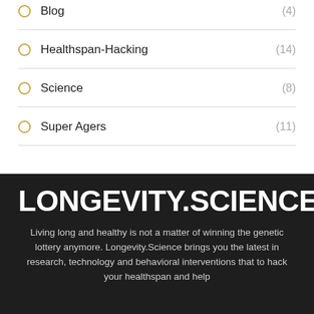Blog (4)
Healthspan-Hacking (14)
Science (8)
Super Agers (11)
LONGEVITY.SCIENCE
Living long and healthy is not a matter of winning the genetic lottery anymore. Longevity.Science brings you the latest in research, technology and behavioral interventions that to hack your healthspan and help